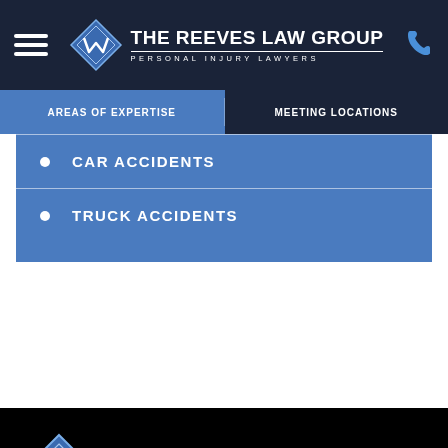THE REEVES LAW GROUP — PERSONAL INJURY LAWYERS — navigation header
AREAS OF EXPERTISE | MEETING LOCATIONS
CAR ACCIDENTS
TRUCK ACCIDENTS
THE REEVES LAW GROUP — PERSONAL INJURY LAWYERS — footer logo